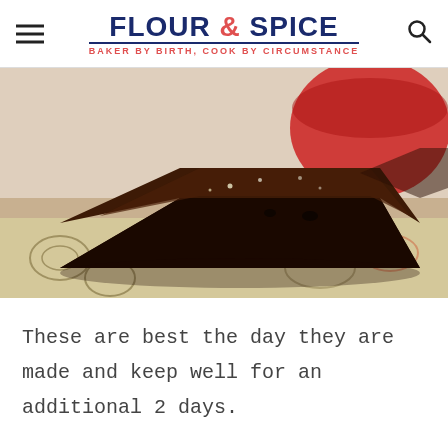FLOUR & SPICE — BAKER BY BIRTH, COOK BY CIRCUMSTANCE
[Figure (photo): Close-up photograph of dark chocolate brownies cut into triangular/square pieces, placed on a decorative patterned surface with a red mixing bowl visible in the background]
These are best the day they are made and keep well for an additional 2 days.